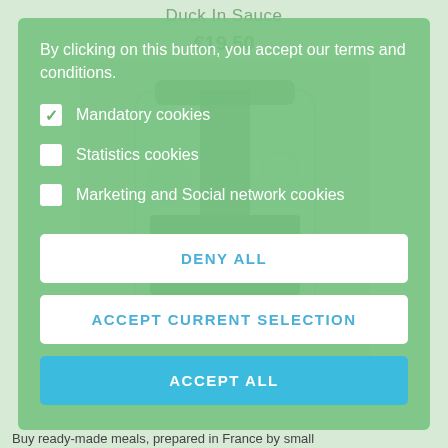Duck In Sauce
€19.50
[Figure (photo): A jar of Les Miottes Blanquette de veau (veal stew) product, viewed from the front, with a green label and ribbon.]
Veal Stew
By clicking on this button, you accept our terms and conditions.
Mandatory cookies (checked)
Statistics cookies (unchecked)
Marketing and Social network cookies (unchecked)
DENY ALL
ACCEPT CURRENT SELECTION
ACCEPT ALL
Buy ready-made meals, prepared in France by small